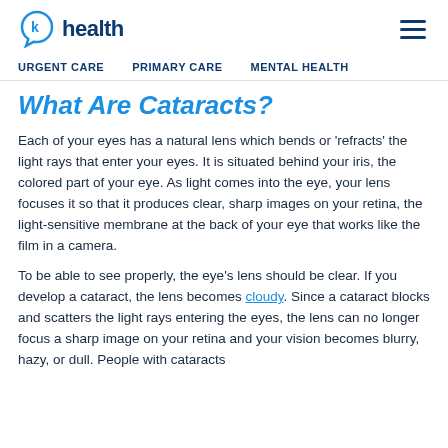K health
URGENT CARE   PRIMARY CARE   MENTAL HEALTH
What Are Cataracts?
Each of your eyes has a natural lens which bends or 'refracts' the light rays that enter your eyes. It is situated behind your iris, the colored part of your eye. As light comes into the eye, your lens focuses it so that it produces clear, sharp images on your retina, the light-sensitive membrane at the back of your eye that works like the film in a camera.
To be able to see properly, the eye's lens should be clear. If you develop a cataract, the lens becomes cloudy. Since a cataract blocks and scatters the light rays entering the eyes, the lens can no longer focus a sharp image on your retina and your vision becomes blurry, hazy, or dull. People with cataracts